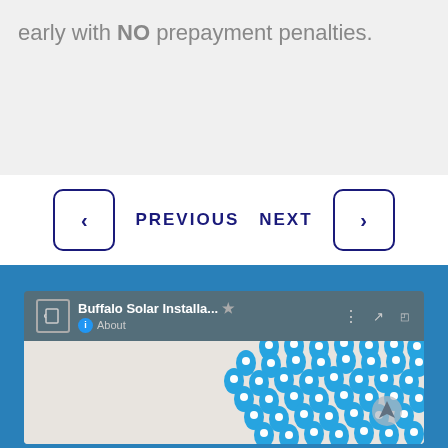early with NO prepayment penalties.
PREVIOUS   NEXT
[Figure (map): Google My Maps screenshot showing 'Buffalo Solar Installa...' map with numerous blue location pin markers clustered over a geographic area, with a map header showing title, star, share, and expand icons, and an About link.]